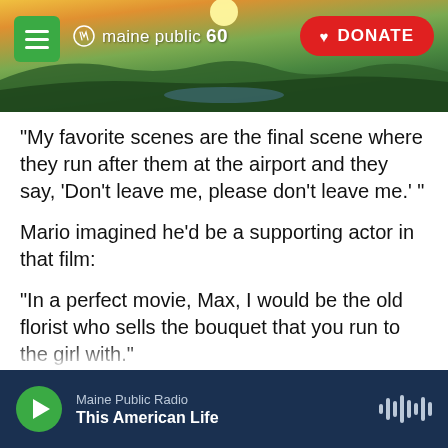[Figure (screenshot): Maine Public Radio website header banner with landscape photo showing sunrise over hills/mountains, hamburger menu button (green), Maine Public 60 logo (white text), and red DONATE button]
"My favorite scenes are the final scene where they run after them at the airport and they say, 'Don't leave me, please don't leave me.' "
Mario imagined he'd be a supporting actor in that film:
"In a perfect movie, Max, I would be the old florist who sells the bouquet that you run to the girl with."
He wants his grandson to keep his optimism alive.
"I hope that when you are my age, you will still be
Maine Public Radio | This American Life